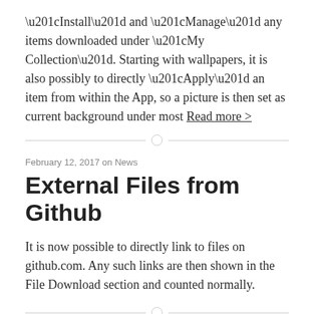“Install” and “Manage” any items downloaded under “My Collection”. Starting with wallpapers, it is also possibly to directly “Apply” an item from within the App, so a picture is then set as current background under most Read more >
February 12, 2017 on News
External Files from Github
It is now possible to directly link to files on github.com. Any such links are then shown in the File Download section and counted normally.